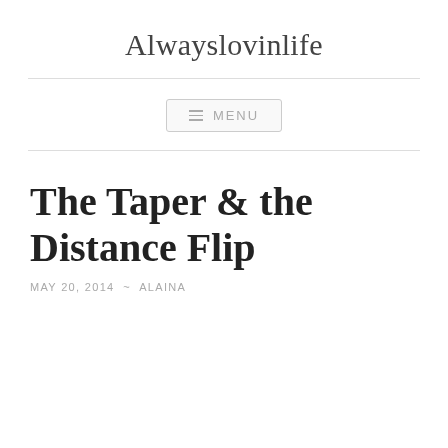Alwayslovinlife
MENU
The Taper & the Distance Flip
MAY 20, 2014  ~  ALAINA